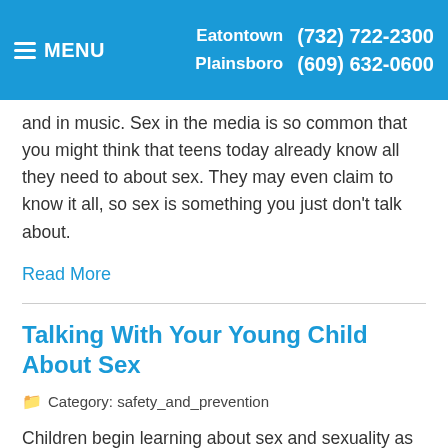MENU   Eatontown (732) 722-2300   Plainsboro (609) 632-0600
and in music. Sex in the media is so common that you might think that teens today already know all they need to about sex. They may even claim to know it all, so sex is something you just don't talk about.
Read More
Talking With Your Young Child About Sex
Category: safety_and_prevention
Children begin learning about sex and sexuality as soon as they are able to view, listen, and sense the world around them. As your children grow and